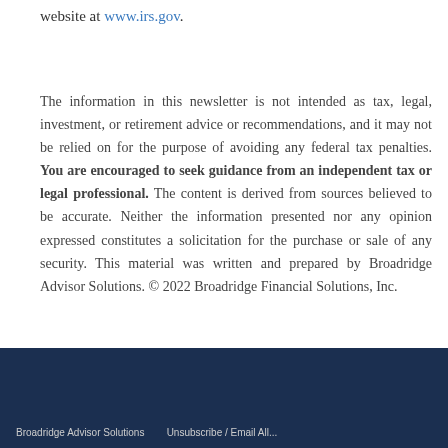website at www.irs.gov.
The information in this newsletter is not intended as tax, legal, investment, or retirement advice or recommendations, and it may not be relied on for the purpose of avoiding any federal tax penalties. You are encouraged to seek guidance from an independent tax or legal professional. The content is derived from sources believed to be accurate. Neither the information presented nor any opinion expressed constitutes a solicitation for the purchase or sale of any security. This material was written and prepared by Broadridge Advisor Solutions. © 2022 Broadridge Financial Solutions, Inc.
Broadridge Advisor Solutions        Unsubscribe / Email All...